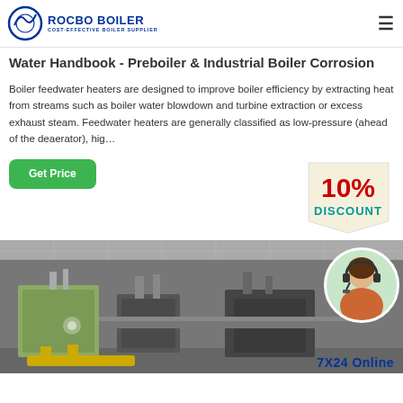ROCBO BOILER — COST-EFFECTIVE BOILER SUPPLIER
Water Handbook - Preboiler & Industrial Boiler Corrosion
Boiler feedwater heaters are designed to improve boiler efficiency by extracting heat from streams such as boiler water blowdown and turbine extraction or excess exhaust steam. Feedwater heaters are generally classified as low-pressure (ahead of the deaerator), hig…
[Figure (infographic): 10% Discount badge with red text '10%' and blue/teal text 'DISCOUNT' on a beige/cream tag shape]
[Figure (photo): Industrial boiler room interior with machinery, pipes, and equipment. A customer service representative (woman with headset) is shown in a circular frame overlay on the right side.]
7X24 Online